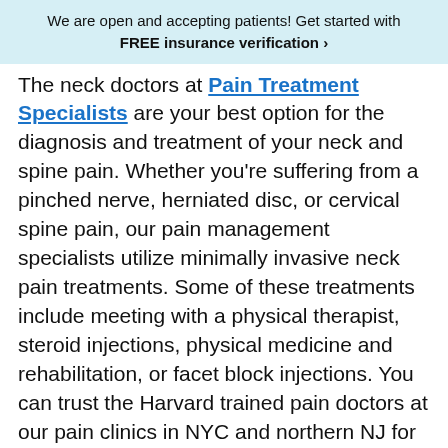We are open and accepting patients! Get started with FREE insurance verification ›
The neck doctors at Pain Treatment Specialists are your best option for the diagnosis and treatment of your neck and spine pain. Whether you're suffering from a pinched nerve, herniated disc, or cervical spine pain, our pain management specialists utilize minimally invasive neck pain treatments. Some of these treatments include meeting with a physical therapist, steroid injections, physical medicine and rehabilitation, or facet block injections. You can trust the Harvard trained pain doctors at our pain clinics in NYC and northern NJ for the best neck pain care.
How Neck Specialists